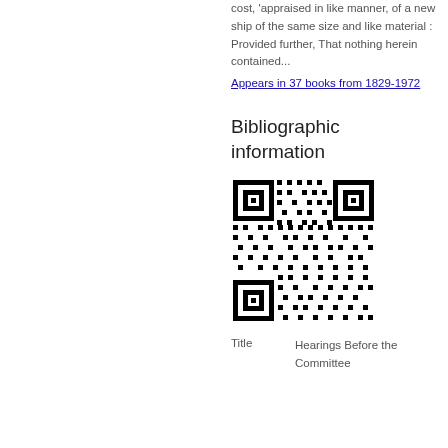cost, 'appraised in like manner, of a new ship of the same size and like material : Provided further, That nothing herein contained...
Appears in 37 books from 1829-1972
Bibliographic information
[Figure (other): QR code for bibliographic information]
| Title |  |
| --- | --- |
| Title | Hearings Before the Committee |